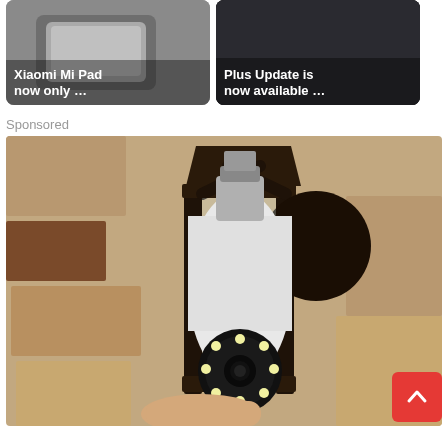[Figure (screenshot): Two thumbnail cards side by side. Left card shows a gray tablet/device image with white bold text 'Xiaomi Mi Pad now only …'. Right card shows a dark background with white bold text 'Plus Update is now available …'.]
Sponsored
[Figure (photo): A large photograph of a security camera bulb (white dome camera with LED ring) installed inside a black outdoor wall lantern fixture mounted on a textured stucco wall. A hand is visible holding or installing the bulb from below.]